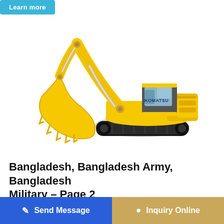[Figure (screenshot): Partial 'Learn more' button at top left, teal/cyan colored rounded rectangle button]
[Figure (photo): Yellow Komatsu large hydraulic excavator on white background, showing boom, arm, bucket, tracks and cab with KOMATSU branding]
Bangladesh, Bangladesh Army, Bangladesh Military – Page 2
South Korean Hanwha Defense Systems manufacturing is ba... fighting vehicle which has been developed by the Agency...
[Figure (screenshot): Send Message button (blue) and Inquiry Online button (tan/gold) at bottom of page]